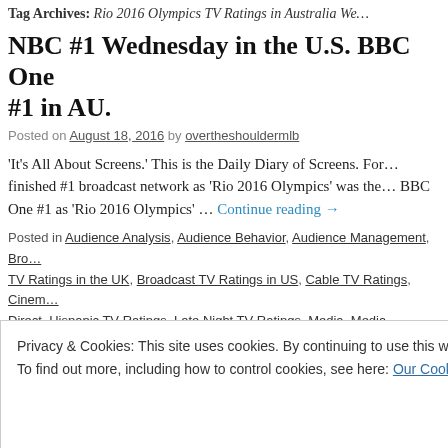Tag Archives: Rio 2016 Olympics TV Ratings in Australia We…
NBC #1 Wednesday in the U.S. BBC One #1 in AU.
Posted on August 18, 2016 by overtheshouldermlb
'It's All About Screens.' This is the Daily Diary of Screens. For … finished #1 broadcast network as 'Rio 2016 Olympics' was the … BBC One #1 as 'Rio 2016 Olympics' … Continue reading →
Posted in Audience Analysis, Audience Behavior, Audience Management, Bro… TV Ratings in the UK, Broadcast TV Ratings in US, Cable TV Ratings, Cinem… Direct, Hispanic TV Ratings, Late Night TV Ratings, Media, Media Analysis, M… By, Music To Read overtheshouldermedia by, Television Program Renewals, … Uncategorized, Wednesday Night TV Ratings, Weekend Box Office | Tagged … Wednesday 081716, 'American Gothic' TV Ratings Wednesday, 'BBC One' #…
Privacy & Cookies: This site uses cookies. By continuing to use this website, you agree to their use.
To find out more, including how to control cookies, see here: Our Cookie Policy